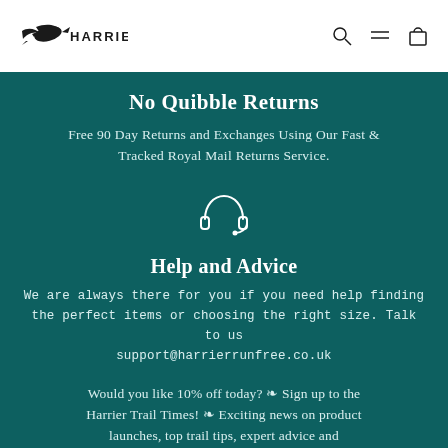HARRIER
No Quibble Returns
Free 90 Day Returns and Exchanges Using Our Fast & Tracked Royal Mail Returns Service.
[Figure (illustration): Headset/headphones customer support icon in white outline on teal background]
Help and Advice
We are always there for you if you need help finding the perfect items or choosing the right size. Talk to us support@harrierrunfree.co.uk
Would you like 10% off today? 🔥 Sign up to the Harrier Trail Times! 🔥 Exciting news on product launches, top trail tips, expert advice and